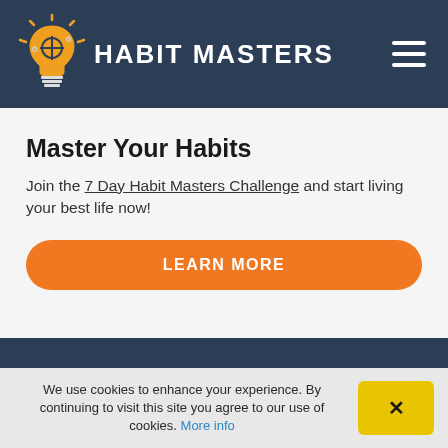HABIT MASTERS
Master Your Habits
Join the 7 Day Habit Masters Challenge and start living your best life now!
LEARN MORE
We use cookies to enhance your experience. By continuing to visit this site you agree to our use of cookies. More info